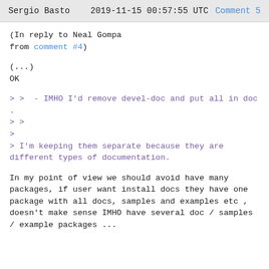Sergio Basto   2019-11-15 00:57:55 UTC   Comment 5
(In reply to Neal Gompa
from comment #4)
(...)
OK
> >  - IMHO I'd remove devel-doc and put all in doc .
> >
>
> I'm keeping them separate because they are different types of documentation.
In my point of view we should avoid have many packages, if user want install docs they have one package with all docs, samples and examples etc , doesn't make sense IMHO have several doc / samples / example packages ...